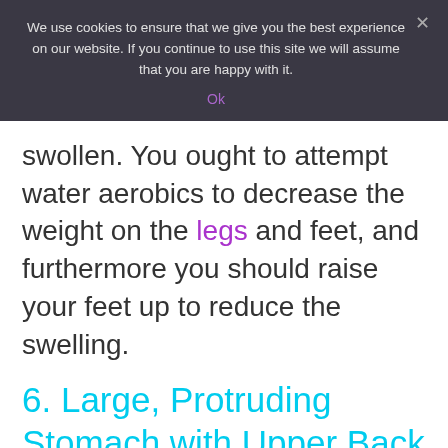We use cookies to ensure that we give you the best experience on our website. If you continue to use this site we will assume that you are happy with it.
Ok
swollen. You ought to attempt water aerobics to decrease the weight on the legs and feet, and furthermore you should raise your feet up to reduce the swelling.
6. Large, Protruding Stomach with Upper Back Fat